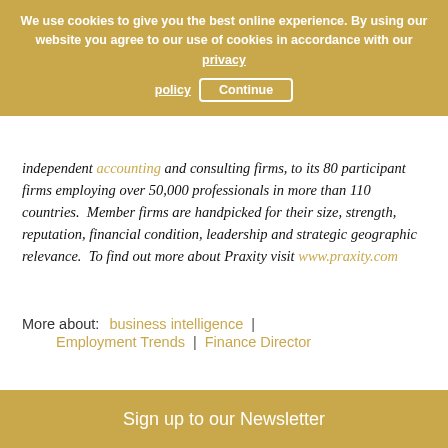We use cookies to give you the best online experience. By using our website you agree to our use of cookies in accordance with our privacy policy  Continue
independent accounting and consulting firms, to its 80 participant firms employing over 50,000 professionals in more than 110 countries. Member firms are handpicked for their size, strength, reputation, financial condition, leadership and strategic geographic relevance. To find out more about Praxity visit www.praxity.com
More about:  business intelligence  |  Employment Trends  |  Finance Director
Sign up to our Newsletter